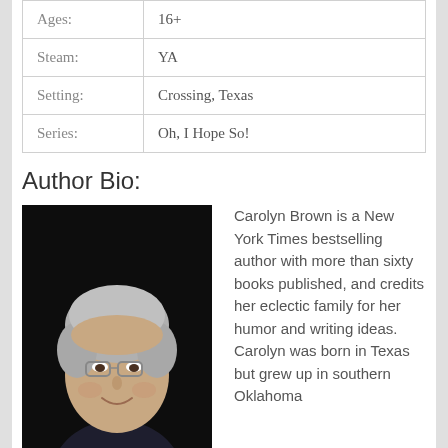| Ages: | 16+ |
| Steam: | YA |
| Setting: | Crossing, Texas |
| Series: | Oh, I Hope So! |
Author Bio:
[Figure (photo): Portrait photo of Carolyn Brown, an elderly woman with short gray hair and glasses, wearing a dark floral top, smiling against a black background.]
Carolyn Brown is a New York Times bestselling author with more than sixty books published, and credits her eclectic family for her humor and writing ideas. Carolyn was born in Texas but grew up in southern Oklahoma where she and her husband, Charles, a retired
where she and her husband, Charles, a retired